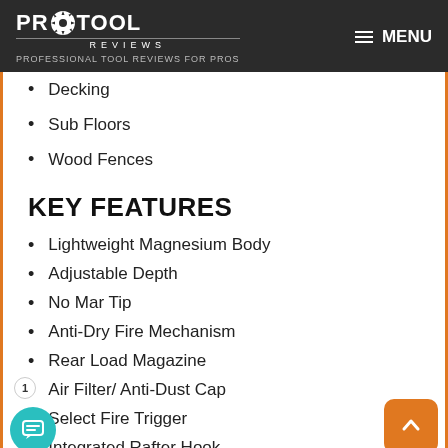PRO TOOL REVIEWS — PROFESSIONAL TOOL REVIEWS FOR PROS — MENU
Decking
Sub Floors
Wood Fences
KEY FEATURES
Lightweight Magnesium Body
Adjustable Depth
No Mar Tip
Anti-Dry Fire Mechanism
Rear Load Magazine
Air Filter/ Anti-Dust Cap
Select Fire Trigger
Integrated Rafter Hook